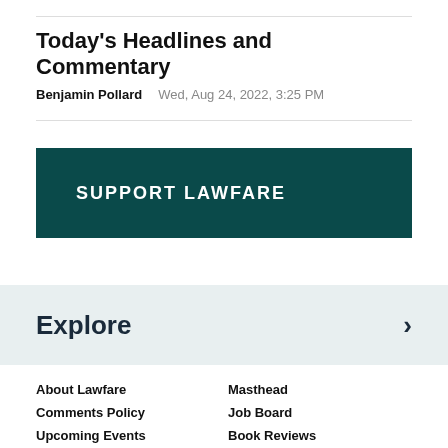Today's Headlines and Commentary
Benjamin Pollard   Wed, Aug 24, 2022, 3:25 PM
SUPPORT LAWFARE
Explore
About Lawfare
Masthead
Comments Policy
Job Board
Upcoming Events
Book Reviews